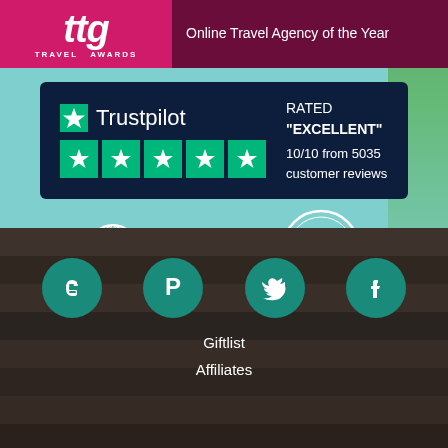[Figure (logo): TTG Travel Awards badge - pink/magenta background with large stylized letters and 'TRAVEL AWARDS' text]
Online Travel Agency of the Year
[Figure (logo): Trustpilot logo with star and 5 green star rating boxes. Rated EXCELLENT 10/10 from 5035 customer reviews]
RATED "EXCELLENT"
10/10 from 5035 customer reviews
[Figure (logo): ABTA - The Travel Association logo (white globe and text) and ATOL Protected circular badge]
[Figure (infographic): Social media icons row: Blogger, Pinterest, Twitter, Facebook - white icons on teal circles over wooden deck background]
Giftlist
Affiliates